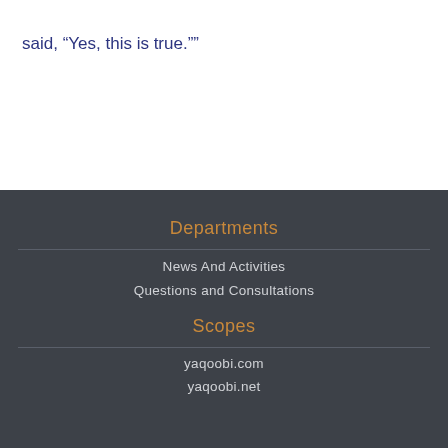said, “Yes, this is true.””
Departments
News And Activities
Questions and Consultations
Scopes
yaqoobi.com
yaqoobi.net